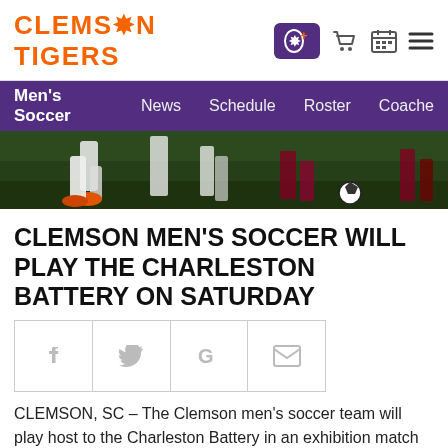CLEMSON TIGERS
Men's Soccer   News   Schedule   Roster   Coaches
[Figure (photo): Soccer players on field at night, close-up of legs and ball on green grass]
CLEMSON MEN'S SOCCER WILL PLAY THE CHARLESTON BATTERY ON SATURDAY
[Figure (infographic): Social share buttons row: Facebook (f), Twitter bird, Google (G), Email envelope]
CLEMSON, SC – The Clemson men's soccer team will play host to the Charleston Battery in an exhibition match on Saturday at 3:00 p.m. at Historic Riggs Field.